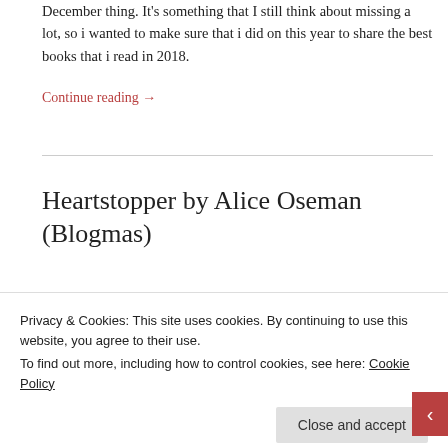December thing. It's something that I still think about missing a lot, so i wanted to make sure that i did on this year to share the best books that i read in 2018.
Continue reading →
Heartstopper by Alice Oseman (Blogmas)
Privacy & Cookies: This site uses cookies. By continuing to use this website, you agree to their use.
To find out more, including how to control cookies, see here: Cookie Policy
Close and accept